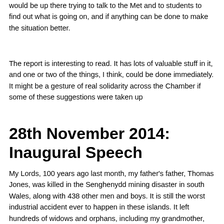would be up there trying to talk to the Met and to students to find out what is going on, and if anything can be done to make the situation better.
The report is interesting to read. It has lots of valuable stuff in it, and one or two of the things, I think, could be done immediately. It might be a gesture of real solidarity across the Chamber if some of these suggestions were taken up
28th November 2014: Inaugural Speech
My Lords, 100 years ago last month, my father's father, Thomas Jones, was killed in the Senghenydd mining disaster in south Wales, along with 438 other men and boys. It is still the worst industrial accident ever to happen in these islands. It left hundreds of widows and orphans, including my grandmother,